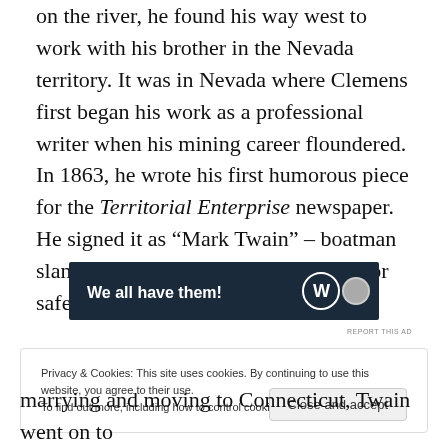on the river, he found his way west to work with his brother in the Nevada territory. It was in Nevada where Clemens first began his work as a professional writer when his mining career floundered. In 1863, he wrote his first humorous piece for the Territorial Enterprise newspaper. He signed it as “Mark Twain” – boatman slang for water that was 12 feet deep, or safe to travel for the riverboats.
[Figure (other): Advertisement banner with dark navy background, text 'We all have them!' in white bold font, WordPress logo (W in circle) and a small circular logo on the right]
REPORT THIS AD
Privacy & Cookies: This site uses cookies. By continuing to use this website, you agree to their use.
To find out more, including how to control cookies, see here: Cookie Policy

Close and accept
marrying and moving to Connecticut, Twain went on to